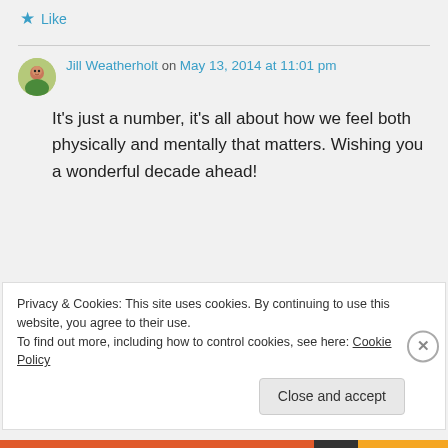Like
Jill Weatherholt on May 13, 2014 at 11:01 pm
It's just a number, it's all about how we feel both physically and mentally that matters. Wishing you a wonderful decade ahead!
Privacy & Cookies: This site uses cookies. By continuing to use this website, you agree to their use.
To find out more, including how to control cookies, see here: Cookie Policy